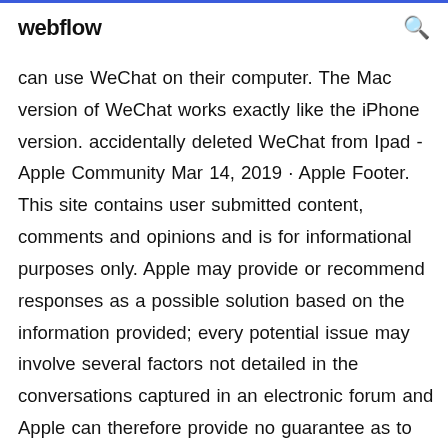webflow
can use WeChat on their computer. The Mac version of WeChat works exactly like the iPhone version. accidentally deleted WeChat from Ipad - Apple Community Mar 14, 2019 · Apple Footer. This site contains user submitted content, comments and opinions and is for informational purposes only. Apple may provide or recommend responses as a possible solution based on the information provided; every potential issue may involve several factors not detailed in the conversations captured in an electronic forum and Apple can therefore provide no guarantee as to the Save WeChat sight to phone via WeChat for Windows or Mac The WeChat web player can automatically...